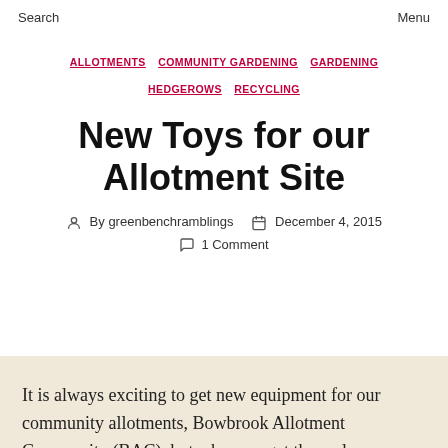Search    Menu
ALLOTMENTS  COMMUNITY GARDENING  GARDENING  HEDGEROWS  RECYCLING
New Toys for our Allotment Site
By greenbenchramblings    December 4, 2015    1 Comment
It is always exciting to get new equipment for our community allotments, Bowbrook Allotment Community (BAC), but when we get three close